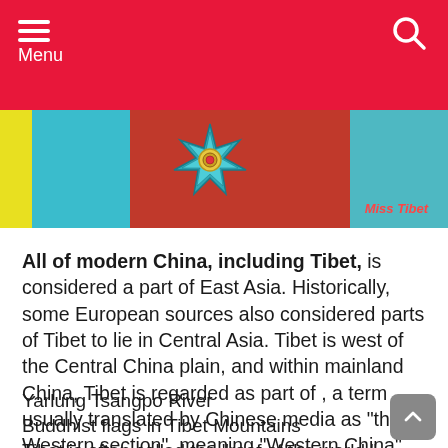Menu
[Figure (photo): Photo of a person in traditional Tibetan dress with decorative jewelry and colorful background. Watermark reads 'Miss Tibet'.]
All of modern China, including Tibet, is considered a part of East Asia. Historically, some European sources also considered parts of Tibet to lie in Central Asia. Tibet is west of the Central China plain, and within mainland China, Tibet is regarded as part of , a term usually translated by Chinese media as "the Western section", meaning "Western China".
Yarlung Tsangpo River
Buddhist flags in Tibet Mountains
Tibet is often called the "roof of the world."